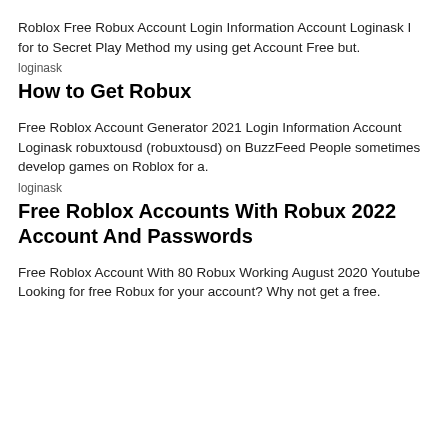Roblox Free Robux Account Login Information Account Loginask I for to Secret Play Method my using get Account Free but.
loginask
How to Get Robux
Free Roblox Account Generator 2021 Login Information Account Loginask robuxtousd (robuxtousd) on BuzzFeed People sometimes develop games on Roblox for a.
loginask
Free Roblox Accounts With Robux 2022 Account And Passwords
Free Roblox Account With 80 Robux Working August 2020 Youtube Looking for free Robux for your account? Why not get a free.